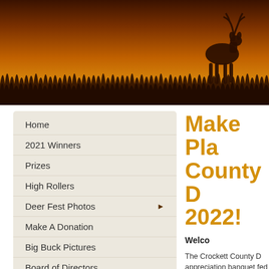[Figure (photo): Hero banner image showing silhouette of deer and grass against a warm golden-orange sunset sky]
Home
2021 Winners
Prizes
High Rollers
Deer Fest Photos
Make A Donation
Big Buck Pictures
Board of Directors
Links
Make Pla County D 2022!
Welco
The Crockett County D appreciation banquet fed a meal of chicken-f brisket. Over the years construction of the Cro